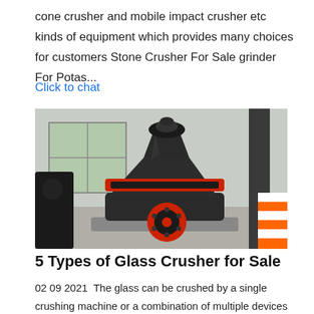cone crusher and mobile impact crusher etc kinds of equipment which provides many choices for customers Stone Crusher For Sale grinder For Potas...
Click to chat
[Figure (photo): A large industrial cone crusher machine displayed in a warehouse or showroom setting. The machine is mostly black with red accent rings and a red pulley wheel at the bottom front.]
5 Types of Glass Crusher for Sale
02 09 2021  The glass can be crushed by a single crushing machine or a combination of multiple devices which also depends on customer needs and the using